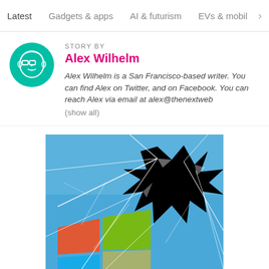Latest  Gadgets & apps  AI & futurism  EVs & mobil >
STORY BY
Alex Wilhelm
Alex Wilhelm is a San Francisco-based writer. You can find Alex on Twitter, and on Facebook. You can reach Alex via email at alex@thenextweb (show all)
[Figure (photo): A cracked screen or glass over a Windows logo background (blue sky with Windows flag logo), showing a large black impact hole in the upper right area with radiating cracks.]